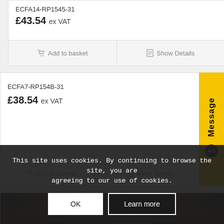ECFA14-RP1545-31
£43.54 ex VAT
Add to basket
Show Details
ECFA7-RP154B-31
£38.54 ex VAT
Add to basket
Show Details
Message
[Figure (photo): Dark rounded product photo, partially visible at bottom of page]
This site uses cookies. By continuing to browse the site, you are agreeing to our use of cookies.
OK
Learn more